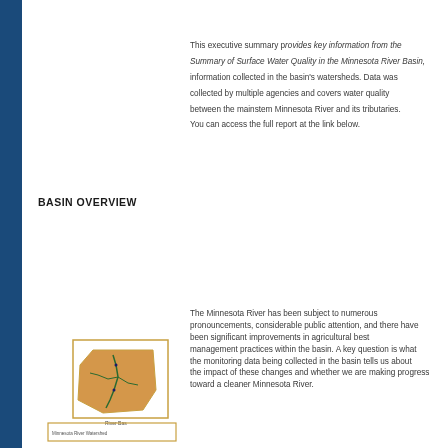This executive summary provides key information from the Summary of Surface Water Quality in the Minnesota River Basin, information collected in the... collected by multiple agencies... between the mainstem Min... You can access the full rep...
BASIN OVERVIEW
[Figure (map): Map of the Minnesota River Basin showing watershed boundaries and river network]
The Minnesota River has b... pronouncements, consider... been significant improvem... management practices wit... the monitoring data being ... the impact of these change... toward a cleaner Minnesot...